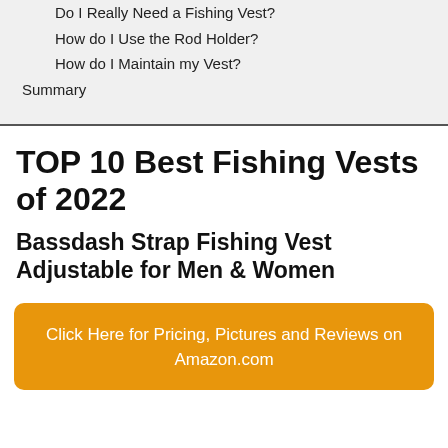Do I Really Need a Fishing Vest?
How do I Use the Rod Holder?
How do I Maintain my Vest?
Summary
TOP 10 Best Fishing Vests of 2022
Bassdash Strap Fishing Vest Adjustable for Men & Women
Click Here for Pricing, Pictures and Reviews on Amazon.com